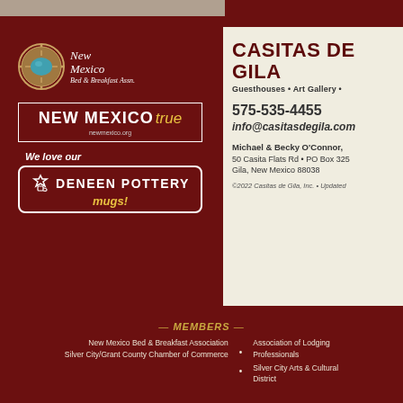[Figure (logo): New Mexico Bed & Breakfast Association logo with turquoise badge and script text]
[Figure (logo): New Mexico True logo with newmexico.org URL]
[Figure (logo): We love our Deneen Pottery Mugs! logo with mug icon]
CASITAS DE GILA
Guesthouses • Art Gallery •
575-535-4455
info@casitasdegila.com
Michael & Becky O'Connor,
50 Casita Flats Rd • PO Box 325
Gila, New Mexico 88038
©2022 Casitas de Gila, Inc. • Updated
— MEMBERS —
New Mexico Bed & Breakfast Association
Association of Lodging Professionals
Silver City/Grant County Chamber of Commerce
Silver City Arts & Cultural District